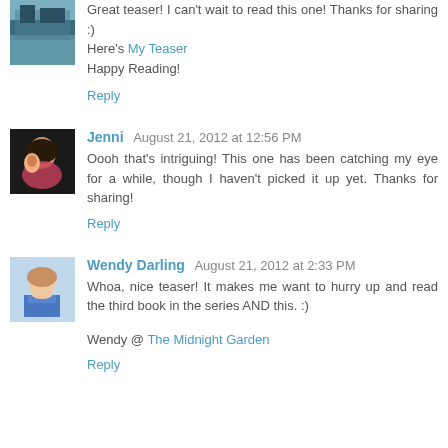[Figure (photo): Small avatar image of a landscape/building scene]
Great teaser! I can't wait to read this one! Thanks for sharing :)
Here's My Teaser
Happy Reading!
Reply
[Figure (photo): Small avatar photo of Jenni with a child]
Jenni August 21, 2012 at 12:56 PM
Oooh that's intriguing! This one has been catching my eye for a while, though I haven't picked it up yet. Thanks for sharing!
Reply
[Figure (illustration): Small avatar illustration of Wendy Darling character]
Wendy Darling August 21, 2012 at 2:33 PM
Whoa, nice teaser! It makes me want to hurry up and read the third book in the series AND this. :)
Wendy @ The Midnight Garden
Reply